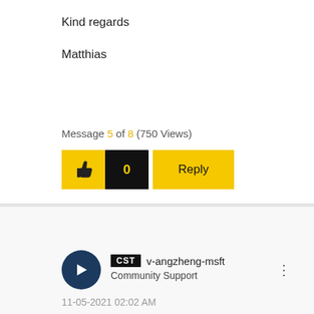Kind regards
Matthias
Message 5 of 8 (750 Views)
[Figure (other): Like button with thumbs-up icon (yellow background), count badge showing 0 (black background with yellow text), and Reply button (yellow background)]
[Figure (other): User avatar — dark navy circle with white arrow/cursor icon]
CST v-angzheng-msft Community Support
11-05-2021 02:02 AM